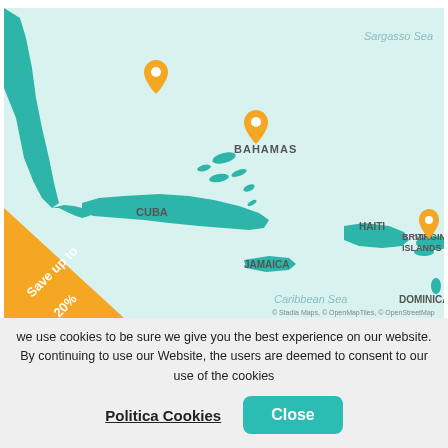[Figure (map): Map of the Caribbean region showing the Sargasso Sea, Bahamas, Cuba, Haiti, Jamaica, British Virgin Islands, Dominica, and Caribbean Sea. Two orange location pins visible. A diagonal orange badge reads 'Save up to 20%'. Map attribution: © Stadia Maps, © OpenMapTiles, © OpenStreetMap.]
Caribbean
we use cookies to be sure we give you the best experience on our website. By continuing to use our Website, the users are deemed to consent to our use of the cookies